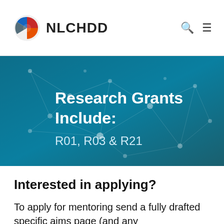NLCHDD
[Figure (illustration): Teal/blue network graph background banner with white text reading 'Research Grants Include:' and 'R01, R03 & R21']
Interested in applying?
To apply for mentoring send a fully drafted specific aims page (and any